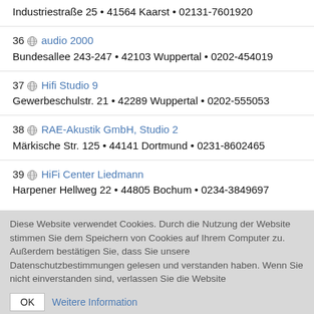Industriestraße 25 • 41564 Kaarst • 02131-7601920
36 audio 2000
Bundesallee 243-247 • 42103 Wuppertal • 0202-454019
37 Hifi Studio 9
Gewerbeschulstr. 21 • 42289 Wuppertal • 0202-555053
38 RAE-Akustik GmbH, Studio 2
Märkische Str. 125 • 44141 Dortmund • 0231-8602465
39 HiFi Center Liedmann
Harpener Hellweg 22 • 44805 Bochum • 0234-3849697
Diese Website verwendet Cookies. Durch die Nutzung der Website stimmen Sie dem Speichern von Cookies auf Ihrem Computer zu. Außerdem bestätigen Sie, dass Sie unsere Datenschutzbestimmungen gelesen und verstanden haben. Wenn Sie nicht einverstanden sind, verlassen Sie die Website